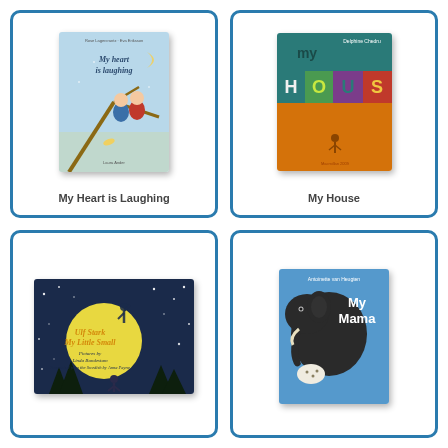[Figure (illustration): Book cover: My Heart is Laughing - light blue cover with two children sitting on a tree branch, crescent moon, cursive title text]
My Heart is Laughing
[Figure (illustration): Book cover: My House - colorful geometric blocks in teal, green, brown, orange with large text MY HOUSE]
My House
[Figure (illustration): Book cover: My Little Small - dark night sky with large yellow moon, silhouette of figure reaching up, stars, pine trees at bottom, yellow cursive title text]
[Figure (illustration): Book cover: My Mama - light blue cover with large dark silhouette of an elephant, white text My Mama]